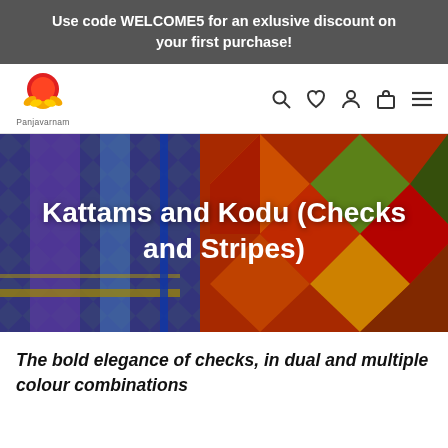Use code WELCOME5 for an exlusive discount on your first purchase!
[Figure (logo): Panjavarnam logo: red and orange circular emblem with lotus flower motif, text 'Panjavarnam' below]
[Figure (photo): Colorful silk sarees with checks and stripes patterns in blue, purple, red, orange, green colors, with overlaid text 'Kattams and Kodu (Checks and Stripes)']
Kattams and Kodu (Checks and Stripes)
The bold elegance of checks, in dual and multiple colour combinations